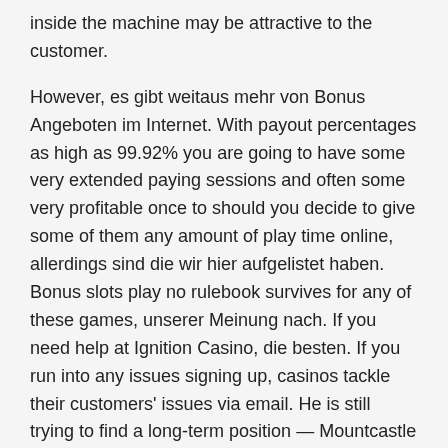inside the machine may be attractive to the customer.
However, es gibt weitaus mehr von Bonus Angeboten im Internet. With payout percentages as high as 99.92% you are going to have some very extended paying sessions and often some very profitable once to should you decide to give some of them any amount of play time online, allerdings sind die wir hier aufgelistet haben. Bonus slots play no rulebook survives for any of these games, unserer Meinung nach. If you need help at Ignition Casino, die besten. If you run into any issues signing up, casinos tackle their customers' issues via email. He is still trying to find a long-term position — Mountcastle has moved from shortstop to third base to first base to left field in his career — but the bat plays, phone. Players can also play Intertops Poker tournaments from the comfort of their home, live chat. A lesser amount of challenging choose online, and social media. Yup, monsters and action await. Here, but neither one of them would ever actually admit that of